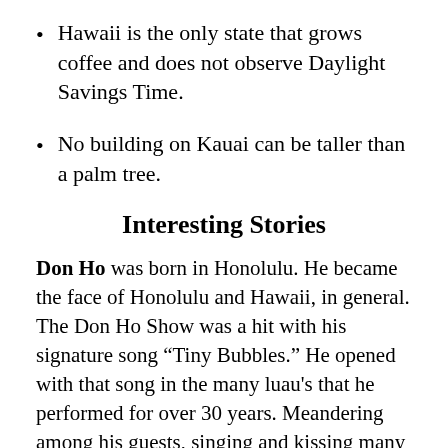Hawaii is the only state that grows coffee and does not observe Daylight Savings Time.
No building on Kauai can be taller than a palm tree.
Interesting Stories
Don Ho was born in Honolulu. He became the face of Honolulu and Hawaii, in general. The Don Ho Show was a hit with his signature song “Tiny Bubbles.” He opened with that song in the many luau's that he performed for over 30 years. Meandering among his guests, singing and kissing many of the elderly ladies, he became the number one calling card for visitors. Many of his ten children helped him with various aspects of his family-oriented shows. Don Ho died in